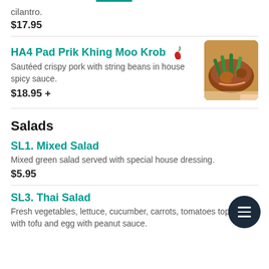cilantro.
$17.95
HA4 Pad Prik Khing Moo Krob
Sautéed crispy pork with string beans in house spicy sauce.
$18.95 +
[Figure (photo): Photo of sautéed crispy pork with string beans dish on a plate]
Salads
SL1. Mixed Salad
Mixed green salad served with special house dressing.
$5.95
SL3. Thai Salad
Fresh vegetables, lettuce, cucumber, carrots, tomatoes topped with tofu and egg with peanut sauce.